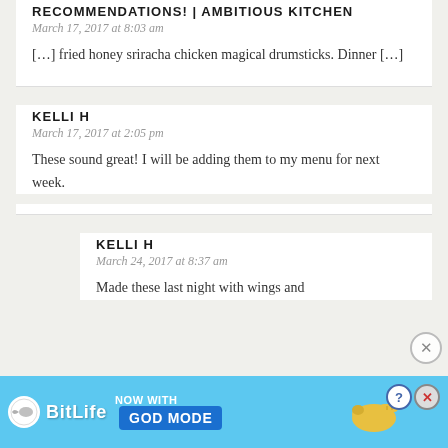RECOMMENDATIONS! | AMBITIOUS KITCHEN
March 17, 2017 at 8:03 am
[…] fried honey sriracha chicken magical drumsticks. Dinner […]
KELLI H
March 17, 2017 at 2:05 pm
These sound great! I will be adding them to my menu for next week.
KELLI H
March 24, 2017 at 8:37 am
Made these last night with wings and
[Figure (screenshot): BitLife advertisement banner: blue background with BitLife logo, 'NOW WITH GOD MODE' text button, hand pointing graphic, close buttons]